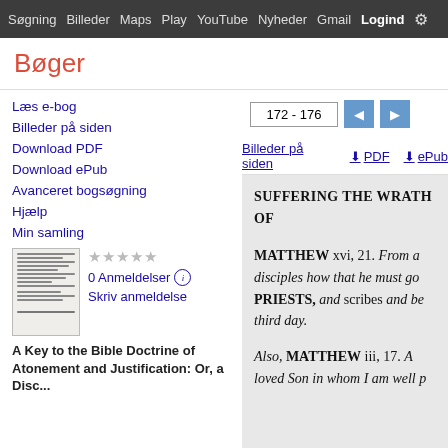Søgning Billeder Maps Play YouTube Nyheder Gmail Logind Mere
Bøger
172 - 176 navigation controls
Billeder på siden  PDF  ePub
Læs e-bog
Billeder på siden
Download PDF
Download ePub
Avanceret bogsøgning
Hjælp
Min samling
0 Anmeldelser
Skriv anmeldelse
A Key to the Bible Doctrine of Atonement and Justification: Or, a Disc...
SUFFERING THE WRATH OF
MATTHEW xvi, 21. From a
disciples how that he must go
PRIESTS, and scribes and be
third day.
Also, MATTHEW iii, 17. A
loved Son in whom I am well p